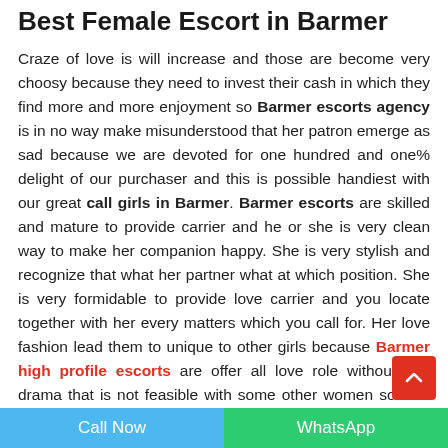Best Female Escort in Barmer
Craze of love is will increase and those are become very choosy because they need to invest their cash in which they find more and more enjoyment so Barmer escorts agency is in no way make misunderstood that her patron emerge as sad because we are devoted for one hundred and one% delight of our purchaser and this is possible handiest with our great call girls in Barmer. Barmer escorts are skilled and mature to provide carrier and he or she is very clean way to make her companion happy. She is very stylish and recognize that what her partner what at which position. She is very formidable to provide love carrier and you locate together with her every matters which you call for. Her love fashion lead them to unique to other girls because Barmer high profile escorts are offer all love role without any drama that is not feasible with some other women so now you grow to be prepared to satisfy tremendous pleasure a girl who's simplest become for love remedy.
Call Now | WhatsApp